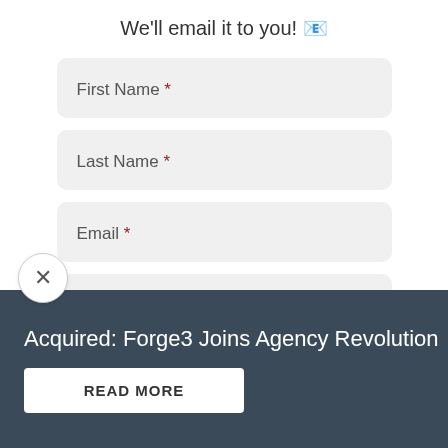We'll email it to you! 📧
First Name *
Last Name *
Email *
Any thoughts or questions?
×
Acquired: Forge3 Joins Agency Revolution
READ MORE